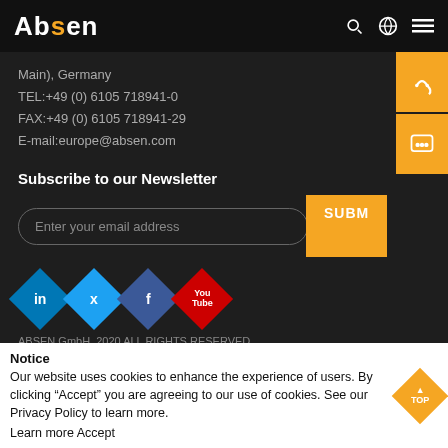Absen
Main), Germany
TEL:+49 (0) 6105 718941-0
FAX:+49 (0) 6105 718941-29
E-mail:europe@absen.com
Subscribe to our Newsletter
Enter your email address
SUBM
[Figure (logo): Social media icons: LinkedIn, Twitter, Facebook, YouTube — diamond shaped colored icons]
ABSEN GmbH. 2020 ALL RIGHTS RESERVED
Notice
Our website uses cookies to enhance the experience of users. By clicking “Accept” you are agreeing to our use of cookies. See our Privacy Policy to learn more.
Learn more Accept